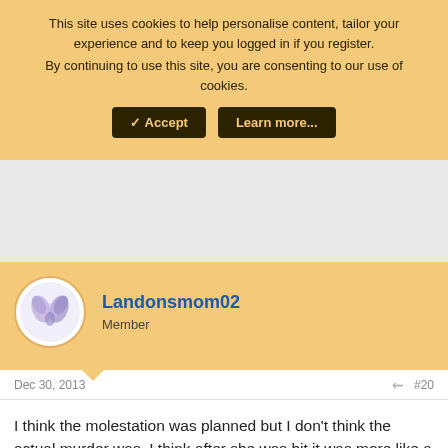This site uses cookies to help personalise content, tailor your experience and to keep you logged in if you register.
By continuing to use this site, you are consenting to our use of cookies.
✓ Accept   Learn more...
[Figure (other): Grey advertisement area placeholder]
Landonsmom02
Member
Dec 30, 2013
#20
I think the molestation was planned but I don't think the actual murder was. I think after she was hit it was more like a flight or